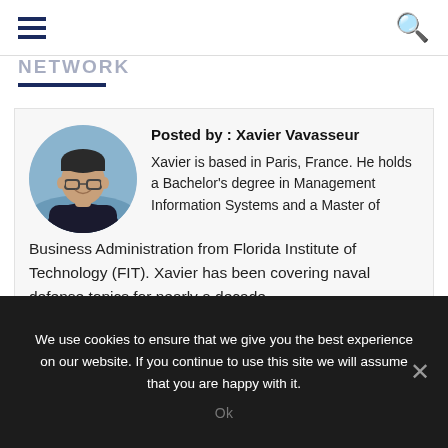Navigation bar with hamburger menu and search icon
NETWORK
[Figure (photo): Circular profile photo of Xavier Vavasseur, a man in a black shirt, set against an outdoor background]
Posted by : Xavier Vavasseur
Xavier is based in Paris, France. He holds a Bachelor's degree in Management Information Systems and a Master of Business Administration from Florida Institute of Technology (FIT). Xavier has been covering naval defense topics for nearly a decade.
We use cookies to ensure that we give you the best experience on our website. If you continue to use this site we will assume that you are happy with it.
Ok